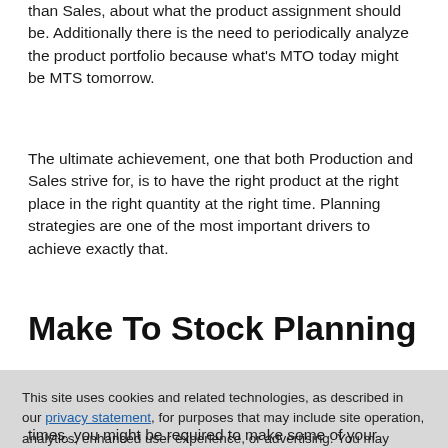than Sales, about what the product assignment should be. Additionally there is the need to periodically analyze the product portfolio because what's MTO today might be MTS tomorrow.
The ultimate achievement, one that both Production and Sales strive for, is to have the right product at the right place in the right quantity at the right time. Planning strategies are one of the most important drivers to achieve exactly that.
Make To Stock Planning
This site uses cookies and related technologies, as described in our privacy statement, for purposes that may include site operation, analytics, enhanced user experience, or advertising. You may choose to consent to our use of these technologies, or manage your own preferences.
Accept Cookies
More Information
Privacy Policy | Powered by: TrustArc
times, you might be required to make some of your product to